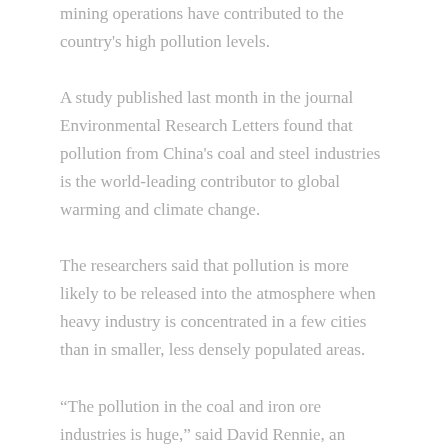mining operations have contributed to the country's high pollution levels.
A study published last month in the journal Environmental Research Letters found that pollution from China's coal and steel industries is the world-leading contributor to global warming and climate change.
The researchers said that pollution is more likely to be released into the atmosphere when heavy industry is concentrated in a few cities than in smaller, less densely populated areas.
“The pollution in the coal and iron ore industries is huge,” said David Rennie, an economist with the Center for Global Development at the University of Pennsylvania.